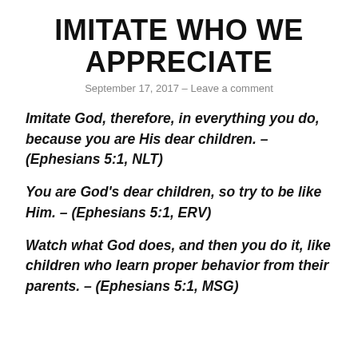IMITATE WHO WE APPRECIATE
September 17, 2017 – Leave a comment
Imitate God, therefore, in everything you do, because you are His dear children. – (Ephesians 5:1, NLT)
You are God's dear children, so try to be like Him. – (Ephesians 5:1, ERV)
Watch what God does, and then you do it, like children who learn proper behavior from their parents. – (Ephesians 5:1, MSG)